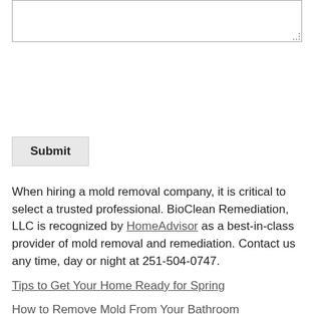[Figure (screenshot): A textarea input box with a resize handle in the bottom-right corner]
Submit
When hiring a mold removal company, it is critical to select a trusted professional. BioClean Remediation, LLC is recognized by HomeAdvisor as a best-in-class provider of mold removal and remediation. Contact us any time, day or night at 251-504-0747.
Tips to Get Your Home Ready for Spring
How to Remove Mold From Your Bathroom